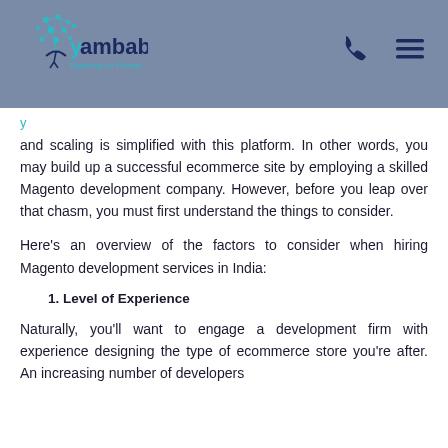[Figure (logo): Yambab logo with cyan tree/dots icon and tagline 'Digitizing for Growth']
and scaling is simplified with this platform. In other words, you may build up a successful ecommerce site by employing a skilled Magento development company. However, before you leap over that chasm, you must first understand the things to consider.
Here's an overview of the factors to consider when hiring Magento development services in India:
1. Level of Experience
Naturally, you'll want to engage a development firm with experience designing the type of ecommerce store you're after. An increasing number of developers